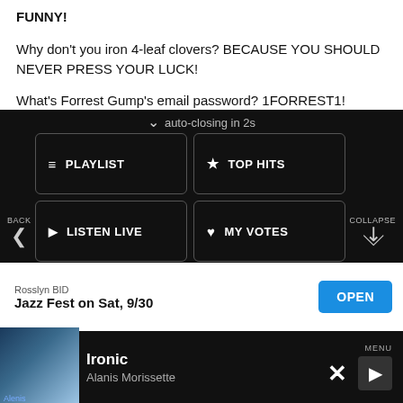FUNNY!
Why don't you iron 4-leaf clovers? BECAUSE YOU SHOULD NEVER PRESS YOUR LUCK!
What's Forrest Gump's email password? 1FORREST1!
[Figure (screenshot): Dark overlay navigation menu with auto-closing countdown, showing PLAYLIST, TOP HITS, LISTEN LIVE, MY VOTES, CONTROLS buttons, a Data opt-out toggle, an advertisement banner for Rosslyn BID Jazz Fest on Sat, 9/30 with an OPEN button, and a now-playing bar showing Ironic by Alanis Morissette with MENU, X, and play controls.]